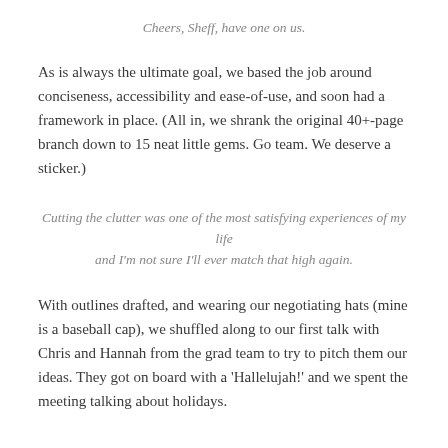Cheers, Sheff, have one on us.
As is always the ultimate goal, we based the job around conciseness, accessibility and ease-of-use, and soon had a framework in place. (All in, we shrank the original 40+-page branch down to 15 neat little gems. Go team. We deserve a sticker.)
Cutting the clutter was one of the most satisfying experiences of my life and I'm not sure I'll ever match that high again.
With outlines drafted, and wearing our negotiating hats (mine is a baseball cap), we shuffled along to our first talk with Chris and Hannah from the grad team to try to pitch them our ideas. They got on board with a 'Hallelujah!' and we spent the meeting talking about holidays.